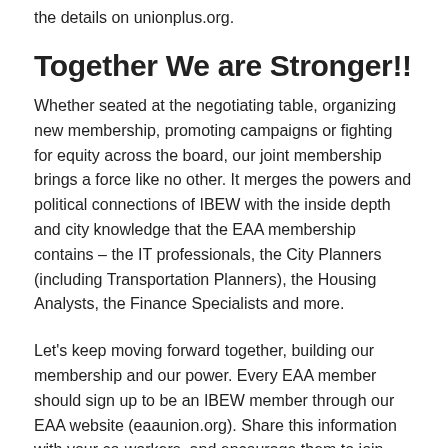the details on unionplus.org.
Together We are Stronger!!
Whether seated at the negotiating table, organizing new membership, promoting campaigns or fighting for equity across the board, our joint membership brings a force like no other. It merges the powers and political connections of IBEW with the inside depth and city knowledge that the EAA membership contains – the IT professionals, the City Planners (including Transportation Planners), the Housing Analysts, the Finance Specialists and more.
Let's keep moving forward together, building our membership and our power. Every EAA member should sign up to be an IBEW member through our EAA website (eaaunion.org).  Share this information with your co-workers, and encourage them to join IBEW